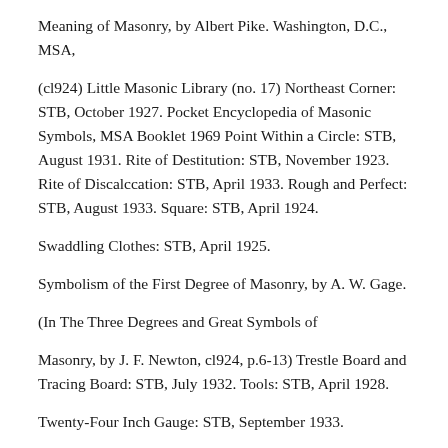Meaning of Masonry, by Albert Pike. Washington, D.C., MSA,
(cl924) Little Masonic Library (no. 17) Northeast Corner: STB, October 1927. Pocket Encyclopedia of Masonic Symbols, MSA Booklet 1969 Point Within a Circle: STB, August 1931. Rite of Destitution: STB, November 1923. Rite of Discalccation: STB, April 1933. Rough and Perfect: STB, August 1933. Square: STB, April 1924.
Swaddling Clothes: STB, April 1925.
Symbolism of the First Degree of Masonry, by A. W. Gage.
(In The Three Degrees and Great Symbols of
Masonry, by J. F. Newton, cl924, p.6-13) Trestle Board and Tracing Board: STB, July 1932. Tools: STB, April 1928.
Twenty-Four Inch Gauge: STB, September 1933.